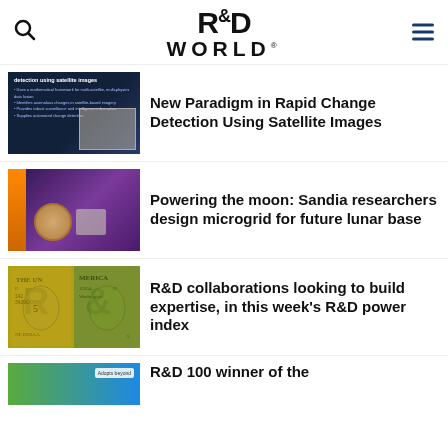[Figure (logo): R&D World magazine logo with search and menu icons]
[Figure (photo): Slide presentation about detection using satellite images with bullet points on dark blue background]
New Paradigm in Rapid Change Detection Using Satellite Images
[Figure (photo): Two Sandia researchers working at computer monitors with purple lighting in a lab]
Powering the moon: Sandia researchers design microgrid for future lunar base
[Figure (photo): Dollar bills arranged to form R&D letters]
R&D collaborations looking to build expertise, in this week's R&D power index
[Figure (photo): Colorful map or diagram partially visible at bottom]
R&D 100 winner of the